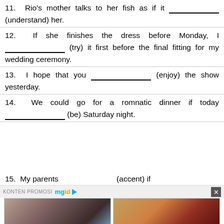11. Rio's mother talks to her fish as if it ____________ (understand) her.
12. If she finishes the dress before Monday, I ______________ (try) it first before the final fitting for my wedding ceremony.
13. I hope that you _____________ (enjoy) the show yesterday.
14. We could go for a romnatic dinner if today _____________ (be) Saturday night.
15. My parents ____________ (accent) if
[Figure (photo): Advertisement banner showing KONTEN PROMOSI mgid logo with two images: a woman with dark hair posing, and an animated illustration of a woman with long brown hair]
[Figure (photo): Left ad image: Real photo of a woman with dark hair and blue clothing]
[Figure (illustration): Right ad image: Animated illustration of a woman with long brown-golden hair and red eyes]